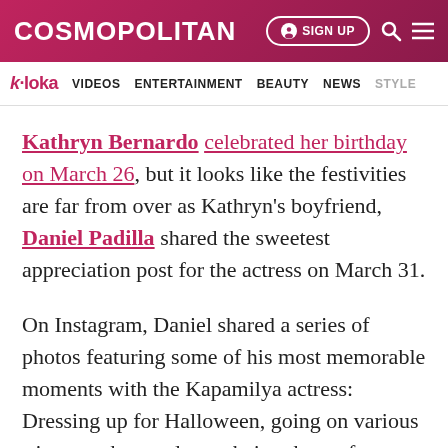COSMOPOLITAN — SIGN UP
k·loka  VIDEOS  ENTERTAINMENT  BEAUTY  NEWS  STYLE
Kathryn Bernardo celebrated her birthday on March 26, but it looks like the festivities are far from over as Kathryn's boyfriend, Daniel Padilla shared the sweetest appreciation post for the actress on March 31.
On Instagram, Daniel shared a series of photos featuring some of his most memorable moments with the Kapamilya actress: Dressing up for Halloween, going on various trips together, and even being the perfect Instagram boyfriend as he steals a snap of the actress while working on a